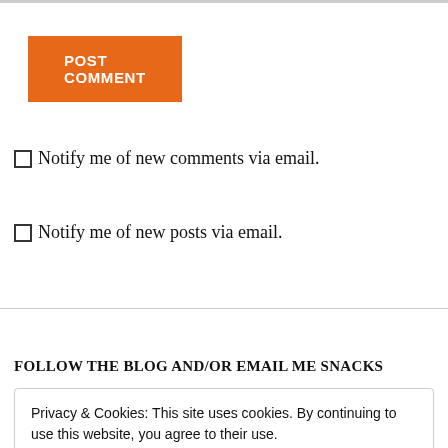[Figure (other): Orange POST COMMENT button]
Notify me of new comments via email.
Notify me of new posts via email.
FOLLOW THE BLOG AND/OR EMAIL ME SNACKS
Privacy & Cookies: This site uses cookies. By continuing to use this website, you agree to their use.
To find out more, including how to control cookies, see here: Cookie Policy
Close and accept